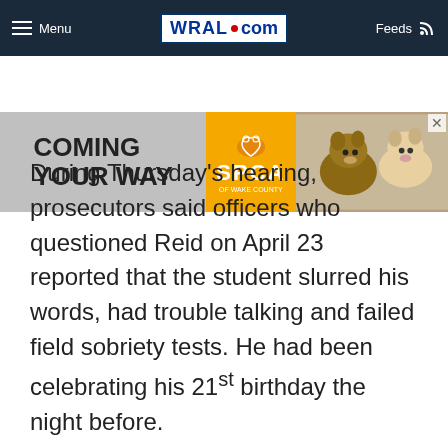Menu | WRAL.com | Feeds
[Figure (other): Advertisement banner for SPCA of Wake County with text 'COMING YOUR WAY' and dogs image]
During Thursday's hearing, prosecutors said officers who questioned Reid on April 23 reported that the student slurred his words, had trouble talking and failed field sobriety tests. He had been celebrating his 21st birthday the night before.
Prosecutors said Leidy was observing the rules of the road for a bicyclist.
On Thursday, Reid's defense attorney, Rusty